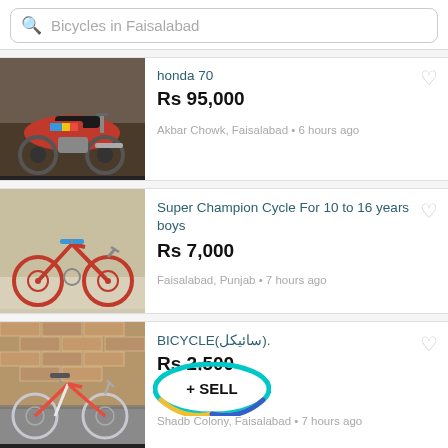Bicycles in Faisalabad
[Figure (photo): Honda 70 motorcycle, red, side view]
honda 70
Rs 95,000
Akbar Chowk, Faisalabad • 6 hours ago
[Figure (photo): Red Super Champion bicycle for boys, leaning against wall]
Super Champion Cycle For 10 to 16 years boys
Rs 7,000
Faisalabad, Punjab • 7 hours ago
[Figure (photo): Bicycle (سائیکل) leaning against brick wall]
BICYCLE(سائیکل).
Rs 2,500
Shadb Colony, Faisalabad • 7 hours ago
[Figure (other): + SELL button with teal/yellow/blue gradient ring overlay]